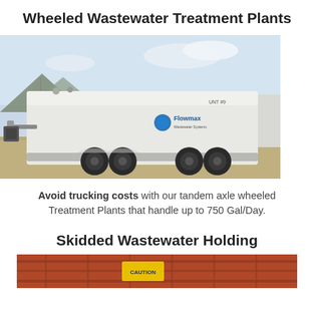Wheeled Wastewater Treatment Plants
[Figure (photo): A white tandem-axle wheeled wastewater treatment plant trailer (Flowmax branded) parked on a gravel lot with mountains in the background.]
Avoid trucking costs with our tandem axle wheeled Treatment Plants that handle up to 750 Gal/Day.
Skidded Wastewater Holding
[Figure (photo): Partial view of a red/orange skidded wastewater holding unit, showing the bottom portion of the equipment.]